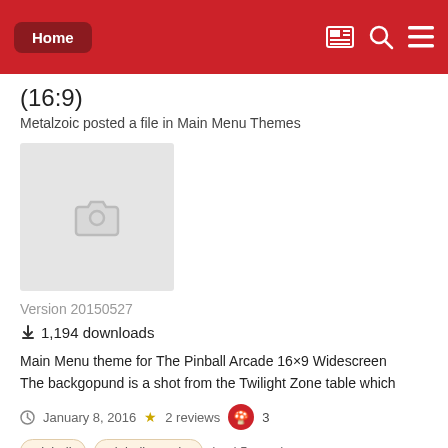Home
(16:9)
Metalzoic posted a file in Main Menu Themes
[Figure (photo): Gray placeholder image with a camera icon]
Version 20150527
1,194 downloads
Main Menu theme for The Pinball Arcade 16×9 Widescreen The backgopund is a shot from the Twilight Zone table which
January 8, 2016  ★ 2 reviews  🍄 3
pinball   pinball arcade   (and 5 more)
[Figure (illustration): Partial view of a crouching green character avatar at the bottom of the page]